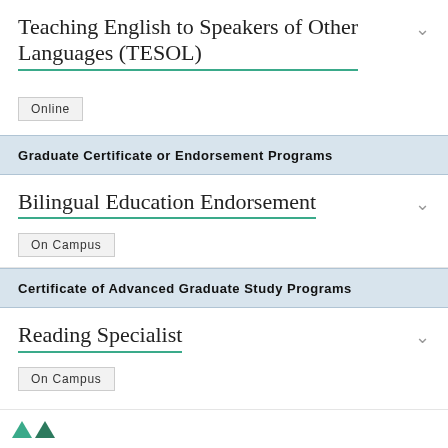Teaching English to Speakers of Other Languages (TESOL)
Online
Graduate Certificate or Endorsement Programs
Bilingual Education Endorsement
On Campus
Certificate of Advanced Graduate Study Programs
Reading Specialist
On Campus